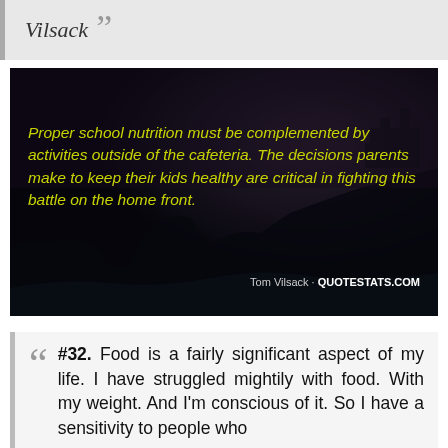Vilsack
[Figure (photo): Dark atmospheric photo of a coastal cliff scene at dusk/night with yellow-green italic text overlay quoting Tom Vilsack: 'Proper school nutrition must be complemented by activities outside of the cafeteria. The decisions parents make to keep their kids healthy are critical in fighting this battle on the home front.' Attribution: Tom Vilsack - QUOTESTATS.COM]
#32. Food is a fairly significant aspect of my life. I have struggled mightily with food. With my weight. And I'm conscious of it. So I have a sensitivity to people who